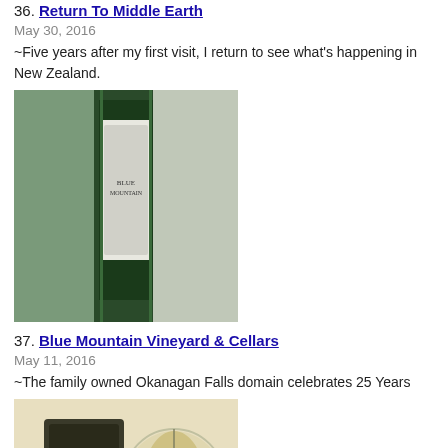36. Return To Middle Earth
May 30, 2016
~Five years after my first visit, I return to see what's happening in New Zealand.
[Figure (photo): Photo of a wine bottle (Blue Mountain label) on ice]
37. Blue Mountain Vineyard & Cellars
May 11, 2016
~The family owned Okanagan Falls domain celebrates 25 Years
[Figure (photo): Photo of a Saint-Joseph wine bottle next to a martini glass]
38. Northern Rhone:
May 03, 2016
The land of Syrah, part 2
[Figure (photo): Photo of multiple dark wine bottles lined up]